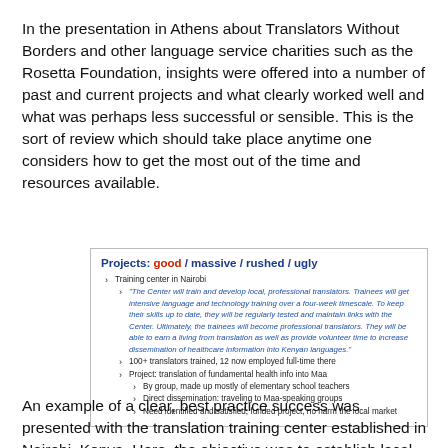In the presentation in Athens about Translators Without Borders and other language service charities such as the Rosetta Foundation, insights were offered into a number of past and current projects and what clearly worked well and what was perhaps less successful or sensible. This is the sort of review which should take place anytime one considers how to get the most out of the time and resources available.
[Figure (other): Slide box titled 'Projects: good / massive / rushed / ugly' listing bullet points about a Training center in Nairobi, a quote about the Center training professional translators, 100+ translators trained, and a project on translation of health info into Maa with sub-bullets.]
An example of a clear, best practice success was presented with the translation training center established in Nairobi, Kenya. Here, the objective was to establish local resources